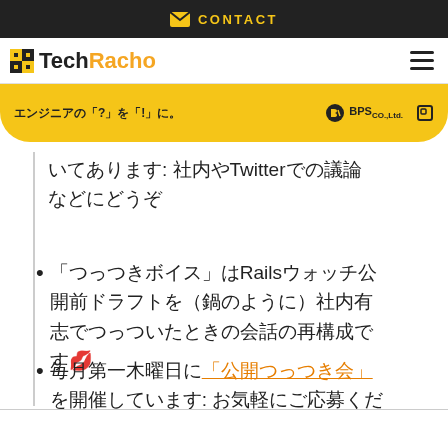CONTACT
TechRacho エンジニアの「?」を「!」に。 BPS CO.,Ltd.
いてあります: 社内やTwitterでの議論などにどうぞ
「つっつきボイス」はRailsウォッチ公開前ドラフトを（鍋のように）社内有志でつっついたときの会話の再構成です💋
毎月第一木曜日に「公開つっつき会」を開催しています: お気軽にご応募ください